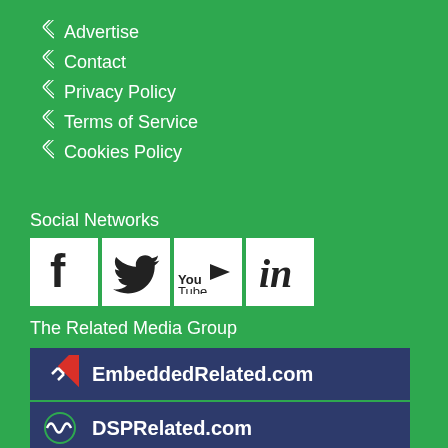Advertise
Contact
Privacy Policy
Terms of Service
Cookies Policy
Social Networks
[Figure (illustration): Social media icons: Facebook, Twitter, YouTube, LinkedIn]
The Related Media Group
[Figure (logo): EmbeddedRelated.com logo on dark blue background]
[Figure (logo): DSPRelated.com logo on dark blue background]
[Figure (logo): Electronics-Related.com logo on red background]
[Figure (logo): FPGARelated.com logo on green background with diamond icon]